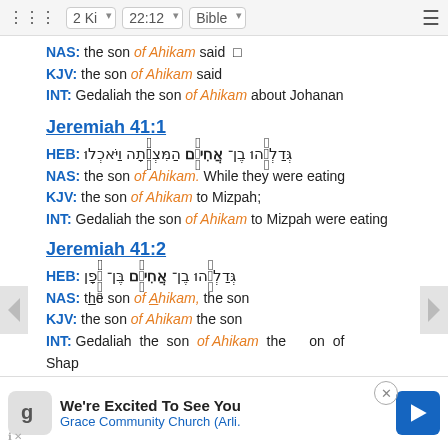2 Ki  22:12  Bible
NAS: the son of Ahikam said
KJV: the son of Ahikam said
INT: Gedaliah the son of Ahikam about Johanan
Jeremiah 41:1
HEB: גְּדַלְיָ֙הוּ בֶן־ אֲחִיקָ֜ם הַמִּצְפָּ֗תָה וַיֹּאכְלוּ
NAS: the son of Ahikam. While they were eating
KJV: the son of Ahikam to Mizpah;
INT: Gedaliah the son of Ahikam to Mizpah were eating
Jeremiah 41:2
HEB: גְּדַלְיָ֙הוּ בֶן־ אֲחִיקָ֜ם בֶּן־ שָׁ֣פָן
NAS: the son of Ahikam, the son
KJV: the son of Ahikam the son
INT: Gedaliah the son of Ahikam the son of Shaphan
[Figure (screenshot): Ad banner: We're Excited To See You - Grace Community Church (Arli.)]